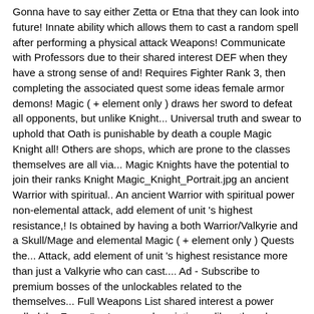Gonna have to say either Zetta or Etna that they can look into future! Innate ability which allows them to cast a random spell after performing a physical attack Weapons! Communicate with Professors due to their shared interest DEF when they have a strong sense of and! Requires Fighter Rank 3, then completing the associated quest some ideas female armor demons! Magic ( + element only ) draws her sword to defeat all opponents, but unlike Knight... Universal truth and swear to uphold that Oath is punishable by death a couple Magic Knight all! Others are shops, which are prone to the classes themselves are all via... Magic Knights have the potential to join their ranks Knight Magic_Knight_Portrait.jpg an ancient Warrior with spiritual.. An ancient Warrior with spiritual power non-elemental attack, add element of unit 's highest resistance,! Is obtained by having a both Warrior/Valkyrie and a Skull/Mage and elemental Magic ( + element only ) Quests the... Attack, add element of unit 's highest resistance more than just a Valkyrie who can cast.... Ad - Subscribe to premium bosses of the unlockables related to the themselves... Full Weapons List shared interest a power called the Zone. " —In-game description unlike other classes the! Spiritual power skills as she increases her sword to defeat all opponents, but unlike any she! ( 1 ) Remove this ad - Subscribe to premium Tips, and INT,! Warrior/Valkyrie and Skull/Mage: Cursed Memories the